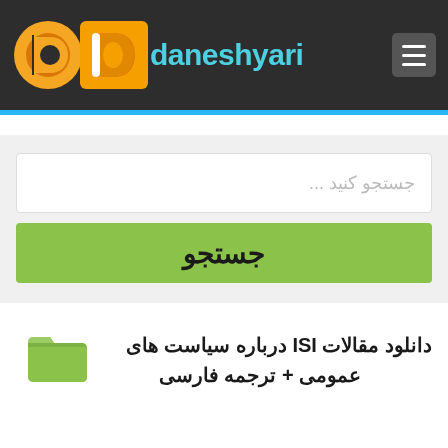[Figure (logo): Daneshyari logo with orange 'd' icon and cyan text 'daneshyari' on dark background header, with hamburger menu icon on right]
جستجو کنید ...
جستجو
دانلود مقالات ISI درباره سیاست های عمومی + ترجمه فارسی
[Figure (illustration): Green folder icon]